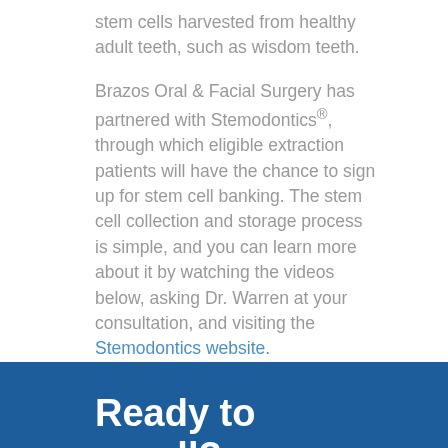stem cells harvested from healthy adult teeth, such as wisdom teeth.
Brazos Oral & Facial Surgery has partnered with Stemodontics®, through which eligible extraction patients will have the chance to sign up for stem cell banking. The stem cell collection and storage process is simple, and you can learn more about it by watching the videos below, asking Dr. Warren at your consultation, and visiting the Stemodontics website.
Ready to enroll?
Save the Future by Enrolling